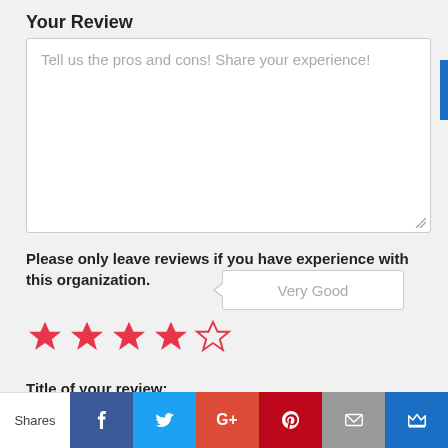Your Review
Tell us the pros and cons! Share your experience!
Please only leave reviews if you have experience with this organization.
Very Good
[Figure (other): 4 out of 5 stars rating — four filled red stars and one empty star outline]
Title of your review:
Summarize your opinion or highlight an interesting detail